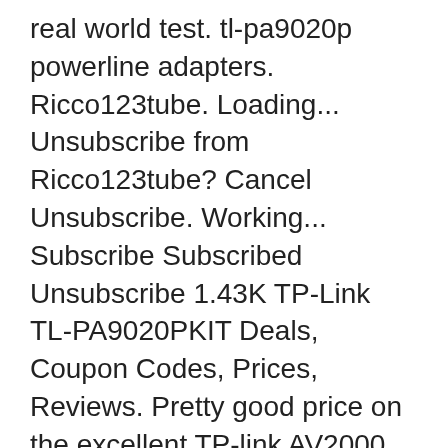real world test. tl-pa9020p powerline adapters. Ricco123tube. Loading... Unsubscribe from Ricco123tube? Cancel Unsubscribe. Working... Subscribe Subscribed Unsubscribe 1.43K TP-Link TL-PA9020PKIT Deals, Coupon Codes, Prices, Reviews. Pretty good price on the excellent TP-link AV2000 powerline kit, which offers you dual ethernet ports on each side.
Find helpful customer reviews and review ratings for TP-Link AV2000 Powerline Adapter - 2 Gigabit Ports, Plug&Play(TL-PA9020 KIT) at Amazon.com. Read honest and unbiased product reviews from our ... 12/01/2018P.P. Unboxing and...